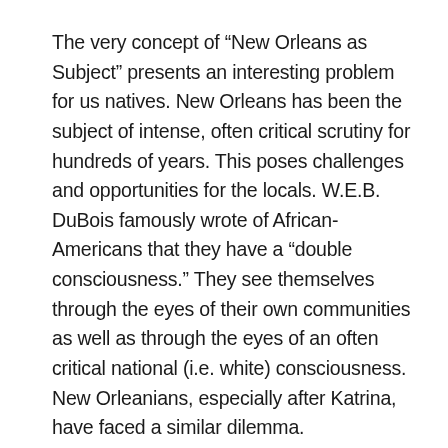The very concept of “New Orleans as Subject” presents an interesting problem for us natives. New Orleans has been the subject of intense, often critical scrutiny for hundreds of years. This poses challenges and opportunities for the locals. W.E.B. DuBois famously wrote of African-Americans that they have a “double consciousness.” They see themselves through the eyes of their own communities as well as through the eyes of an often critical national (i.e. white) consciousness. New Orleanians, especially after Katrina, have faced a similar dilemma.
But the conference didn’t much concern itself with